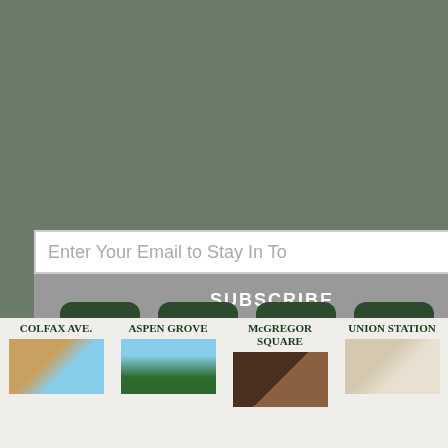Enter Your Email to Stay In To
SUBSCRIBE
[Figure (other): Social media icons row: Twitter, YouTube, Instagram, Email, Facebook — all white icons on dark green rounded square backgrounds]
COLFAX AVE.
ASPEN GROVE
McGREGOR SQUARE
UNION STATION